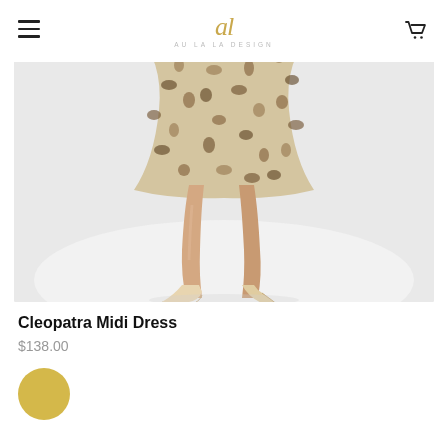AU LA LA DESIGN
[Figure (photo): Lower half of a woman wearing a leopard print midi dress and nude pointed-toe heels, photographed against a white background.]
Cleopatra Midi Dress
$138.00
[Figure (illustration): Gold/yellow circular color swatch for the Cleopatra Midi Dress product.]